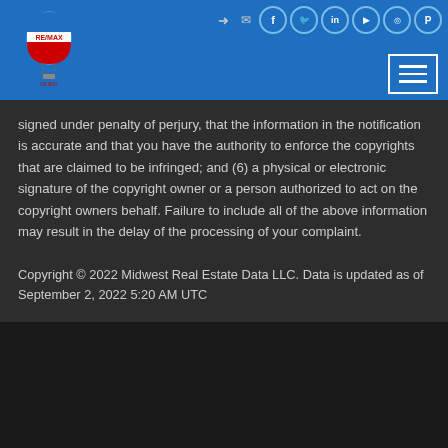RE/MAX logo and navigation header with social icons
signed under penalty of perjury, that the information in the notification is accurate and that you have the authority to enforce the copyrights that are claimed to be infringed; and (6) a physical or electronic signature of the copyright owner or a person authorized to act on the copyright owners behalf. Failure to include all of the above information may result in the delay of the processing of your complaint.
Copyright © 2022 Midwest Real Estate Data LLC. Data is updated as of September 2, 2022 5:20 AM UTC